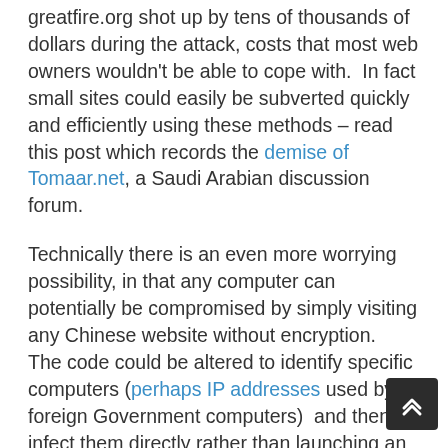greatfire.org shot up by tens of thousands of dollars during the attack, costs that most web owners wouldn't be able to cope with. In fact small sites could easily be subverted quickly and efficiently using these methods – read this post which records the demise of Tomaar.net, a Saudi Arabian discussion forum.
Technically there is an even more worrying possibility, in that any computer can potentially be compromised by simply visiting any Chinese website without encryption. The code could be altered to identify specific computers (perhaps IP addresses used by foreign Government computers) and then infect them directly rather than launching an attack on a third party.
The possibilities and threats are endless, so unless you want to be involved in an attack it's probably not a wise move to visit any Chinese (Non HTTPS)...